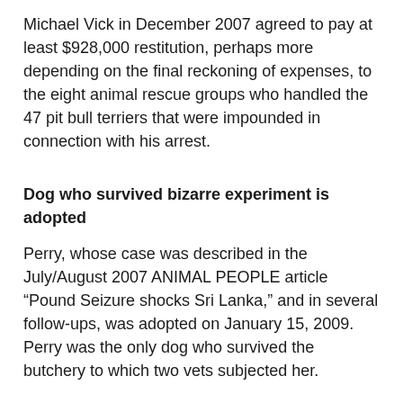Michael Vick in December 2007 agreed to pay at least $928,000 restitution, perhaps more depending on the final reckoning of expenses, to the eight animal rescue groups who handled the 47 pit bull terriers that were impounded in connection with his arrest.
Dog who survived bizarre experiment is adopted
Perry, whose case was described in the July/August 2007 ANIMAL PEOPLE article “Pound Seizure shocks Sri Lanka,” and in several follow-ups, was adopted on January 15, 2009. Perry was the only dog who survived the butchery to which two vets subjected her.